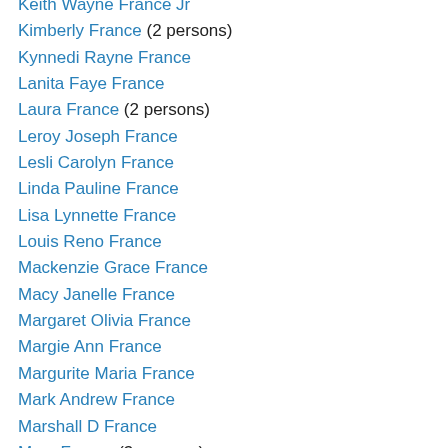Keith Wayne France Jr
Kimberly France (2 persons)
Kynnedi Rayne France
Lanita Faye France
Laura France (2 persons)
Leroy Joseph France
Lesli Carolyn France
Linda Pauline France
Lisa Lynnette France
Louis Reno France
Mackenzie Grace France
Macy Janelle France
Margaret Olivia France
Margie Ann France
Margurite Maria France
Mark Andrew France
Marshall D France
Mary France (3 persons)